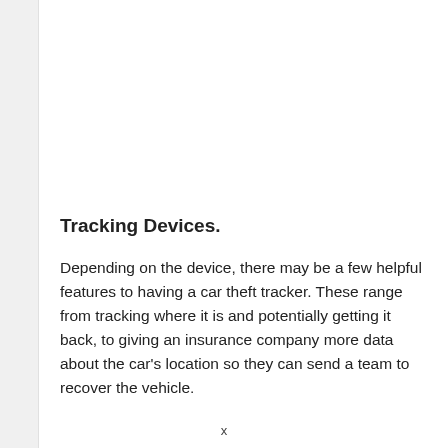Tracking Devices.
Depending on the device, there may be a few helpful features to having a car theft tracker. These range from tracking where it is and potentially getting it back, to giving an insurance company more data about the car’s location so they can send a team to recover the vehicle.
x